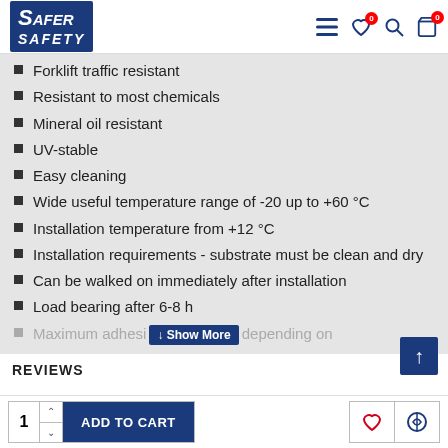Safer Safety - navigation header with logo and icons
Forklift traffic resistant
Resistant to most chemicals
Mineral oil resistant
UV-stable
Easy cleaning
Wide useful temperature range of -20 up to +60 °C
Installation temperature from +12 °C
Installation requirements - substrate must be clean and dry
Can be walked on immediately after installation
Load bearing after 6-8 h
Maximum adhesion (depending on [Show More button]
REVIEWS
1 ADD TO CART [quantity selector and add to cart button, heart icon, compare icon]